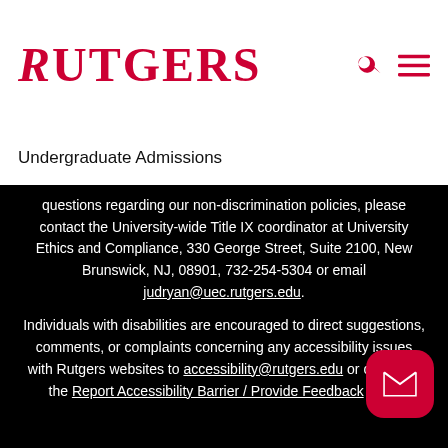[Figure (logo): Rutgers University logo in red serif text]
Undergraduate Admissions
questions regarding our non-discrimination policies, please contact the University-wide Title IX coordinator at University Ethics and Compliance, 330 George Street, Suite 2100, New Brunswick, NJ, 08901, 732-254-5304 or email judryan@uec.rutgers.edu.
Individuals with disabilities are encouraged to direct suggestions, comments, or complaints concerning any accessibility issues with Rutgers websites to accessibility@rutgers.edu or complete the Report Accessibility Barrier / Provide Feedback form.